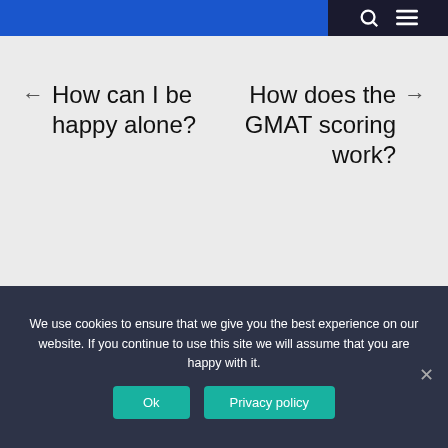← How can I be happy alone?
How does the GMAT scoring work? →
RECENT POSTS
How the Telehealth Sector is Helping Us to Beat Covid-19
We use cookies to ensure that we give you the best experience on our website. If you continue to use this site we will assume that you are happy with it.
Ok   Privacy policy